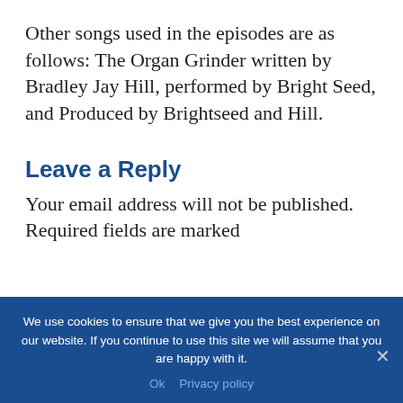Other songs used in the episodes are as follows: The Organ Grinder written by Bradley Jay Hill, performed by Bright Seed, and Produced by Brightseed and Hill.
Leave a Reply
Your email address will not be published. Required fields are marked
Comment
We use cookies to ensure that we give you the best experience on our website. If you continue to use this site we will assume that you are happy with it.
Ok    Privacy policy